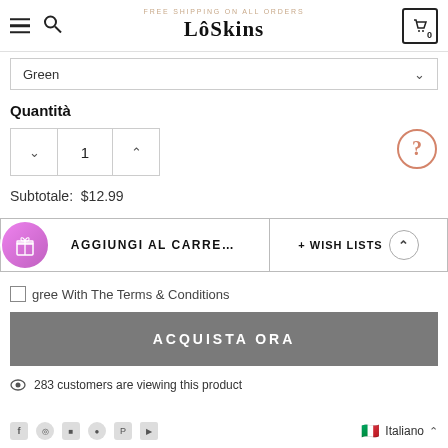LôSkins — FREE SHIPPING ON ALL ORDERS
Green
Quantità
1
Subtotale: $12.99
AGGIUNGI AL CARRE...
+ WISH LISTS
gree With The Terms & Conditions
ACQUISTA ORA
283 customers are viewing this product
Italiano